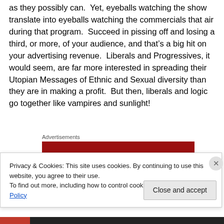as they possibly can.  Yet, eyeballs watching the show translate into eyeballs watching the commercials that air during that program.  Succeed in pissing off and losing a third, or more, of your audience, and that’s a big hit on your advertising revenue.  Liberals and Progressives, it would seem, are far more interested in spreading their Utopian Messages of Ethnic and Sexual diversity than they are in making a profit.  But then, liberals and logic go together like vampires and sunlight!
[Figure (other): Red advertisement banner with label 'Advertisements' above it]
Privacy & Cookies: This site uses cookies. By continuing to use this website, you agree to their use.
To find out more, including how to control cookies, see here: Cookie Policy
Close and accept